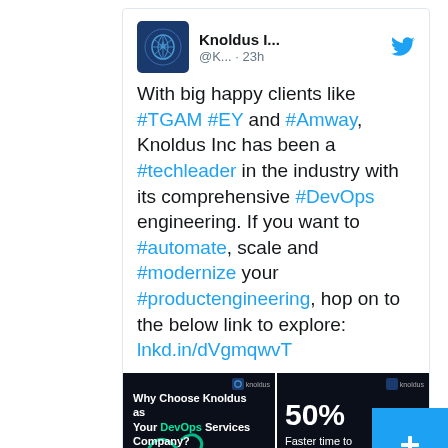[Figure (screenshot): Twitter/social media post from Knoldus Inc. (@K...) posted 23h ago, showing tweet text with hashtags and a 2x2 grid of promotional images for Knoldus DevOps services showing statistics: 50% Faster time to market, 30%, 15%]
With big happy clients like #TGAM #EY and #Amway, Knoldus Inc has been a #techleader in the industry with its comprehensive #DevOps engineering. If you want to #automate, scale and #modernize your #productengineering, hop on to the below link to explore: lnkd.in/dVgmqwvT